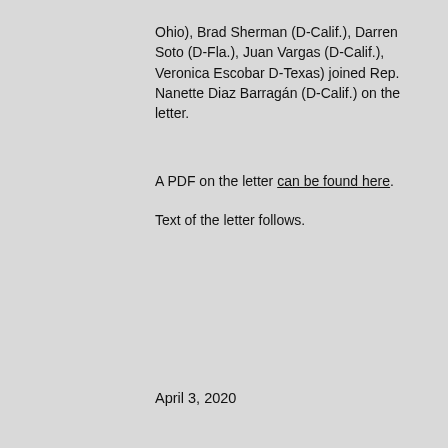Ohio), Brad Sherman (D-Calif.), Darren Soto (D-Fla.), Juan Vargas (D-Calif.), Veronica Escobar D-Texas) joined Rep. Nanette Diaz Barragán (D-Calif.) on the letter.
A PDF on the letter can be found here.
Text of the letter follows.
April 3, 2020